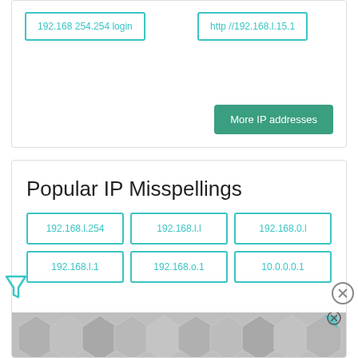192.168 254.254 login
http //192.168.l.15.1
More IP addresses
Popular IP Misspellings
192.168.l.254
192.168.l.l
192.168.0.l
192.168.l.1
192.168.o.1
10.0.0.0.1
[Figure (other): Advertisement banner with geometric diamond/hexagon pattern in grey tones]